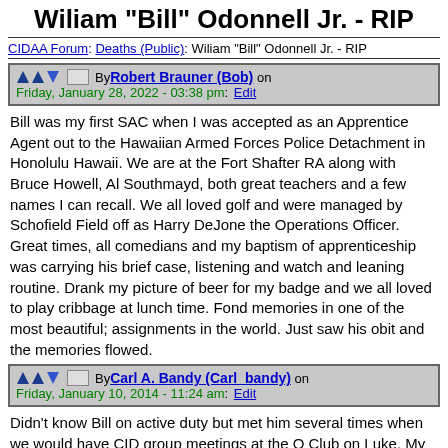Wiliam "Bill" Odonnell Jr. - RIP
CIDAA Forum: Deaths (Public): Wiliam "Bill" Odonnell Jr. - RIP
By Robert Brauner (Bob) on Friday, January 28, 2022 - 03:38 pm: Edit
Bill was my first SAC when I was accepted as an Apprentice Agent out to the Hawaiian Armed Forces Police Detachment in Honolulu Hawaii. We are at the Fort Shafter RA along with Bruce Howell, Al Southmayd, both great teachers and a few names I can recall. We all loved golf and were managed by Schofield Field off as Harry DeJone the Operations Officer. Great times, all comedians and my baptism of apprenticeship was carrying his brief case, listening and watch and leaning routine. Drank my picture of beer for my badge and we all loved to play cribbage at lunch time. Fond memories in one of the most beautiful; assignments in the world. Just saw his obit and the memories flowed.
By Carl A. Bandy (Carl_bandy) on Friday, January 10, 2014 - 11:24 am: Edit
Didn't know Bill on active duty but met him several times when we would have CID group meetings at the O Club on Luke. My condolences to PJ and all the family.
By Louise "Mickey" Head (Cidaa1) on Sunday, December 29, 2013 - 07:44 pm: Edit
Bill volunteered and published the CIDAA Newsletter as Editor for ten (10)